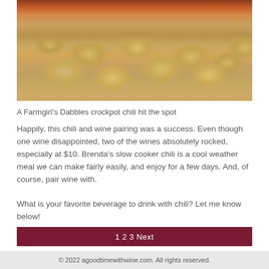[Figure (photo): Photo of star-shaped tortilla chips arranged around a bowl of red salsa on a glass plate]
A Farmgirl’s Dabbles crockpot chili hit the spot
Happily, this chili and wine pairing was a success. Even though one wine disappointed, two of the wines absolutely rocked, especially at $10. Brenda’s slow cooker chili is a cool weather meal we can make fairly easily, and enjoy for a few days. And, of course, pair wine with.
What is your favorite beverage to drink with chili? Let me know below!
1 2 3 Next
© 2022 agoodtimewithwine.com. All rights reserved.